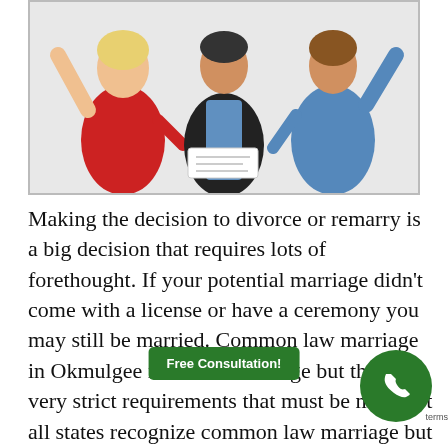[Figure (photo): Photo of three people in an argument or dispute — a woman in red raising her hand, a man in a black suit holding papers in the middle, and another person in a blue shirt with hand raised, all against a white background.]
Making the decision to divorce or remarry is a big decision that requires lots of forethought. If your potential marriage didn't come with a license or have a ceremony you may still be married. Common law marriage in Okmulgee is a valid marriage but there are very strict requirements that must be met. Not all states recognize common law marriage but Oklahoma does. In Oklahoma, a common law marriage is recognized when a couple holds themselves out e relationship with each-other and they hold themselves as married. in the event that you meet the requirements